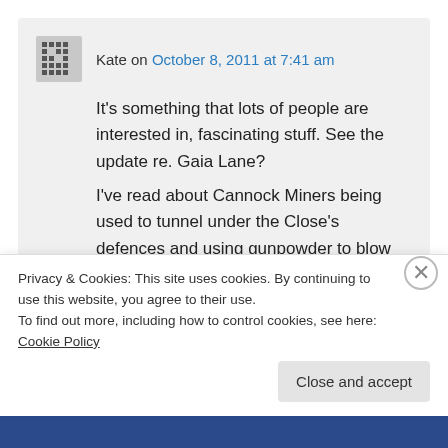Kate on October 8, 2011 at 7:41 am
It's something that lots of people are interested in, fascinating stuff. See the update re. Gaia Lane?
I've read about Cannock Miners being used to tunnel under the Close's defences and using gunpowder to blow them up!
I'm at the Tudor Cafe today by coincidence, maybe I should ask in there 😉
Privacy & Cookies: This site uses cookies. By continuing to use this website, you agree to their use.
To find out more, including how to control cookies, see here: Cookie Policy
Close and accept